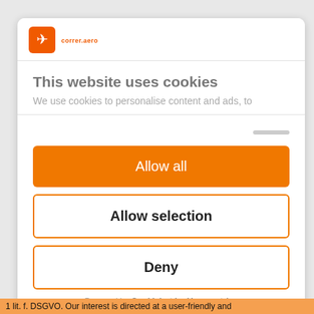[Figure (logo): Airline/travel website logo with orange plane icon and text 'correr.aero']
This website uses cookies
We use cookies to personalise content and ads, to
Allow all
Allow selection
Deny
Powered by Cookiebot by Usercentrics
1 lit. f. DSGVO. Our interest is directed at a user-friendly and